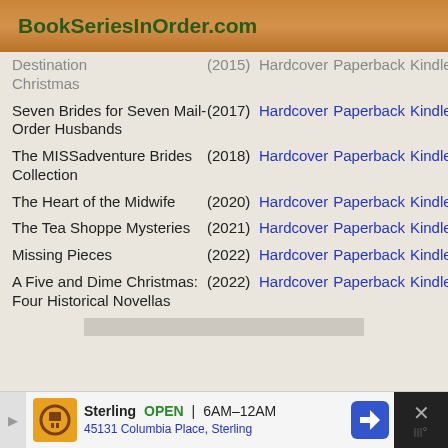BookSeriesInOrder.com
Destination Christmas (2015) Hardcover Paperback Kindle
Seven Brides for Seven Mail-Order Husbands (2017) Hardcover Paperback Kindle
The MISSadventure Brides Collection (2018) Hardcover Paperback Kindle
The Heart of the Midwife (2020) Hardcover Paperback Kindle
The Tea Shoppe Mysteries (2021) Hardcover Paperback Kindle
Missing Pieces (2022) Hardcover Paperback Kindle
A Five and Dime Christmas: Four Historical Novellas (2022) Hardcover Paperback Kindle
[Figure (other): Advertisement bar showing Sterling restaurant, OPEN 6AM-12AM, 45131 Columbia Place, Sterling]
Sterling  OPEN  6AM–12AM  45131 Columbia Place, Sterling